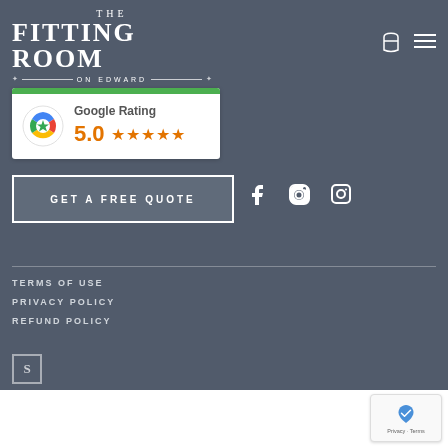THE FITTING ROOM ON EDWARD
[Figure (logo): Google Rating widget showing 5.0 stars with Google colored logo]
GET A FREE QUOTE
[Figure (infographic): Social media icons: Facebook, LinkedIn, Instagram]
TERMS OF USE
PRIVACY POLICY
REFUND POLICY
[Figure (logo): Squarespace logo icon]
[Figure (logo): reCAPTCHA badge with Privacy and Terms links]